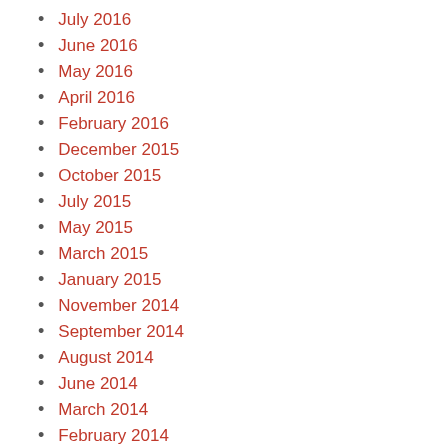July 2016
June 2016
May 2016
April 2016
February 2016
December 2015
October 2015
July 2015
May 2015
March 2015
January 2015
November 2014
September 2014
August 2014
June 2014
March 2014
February 2014
November 2013
October 2013
September 2013
August 2013
May 2013